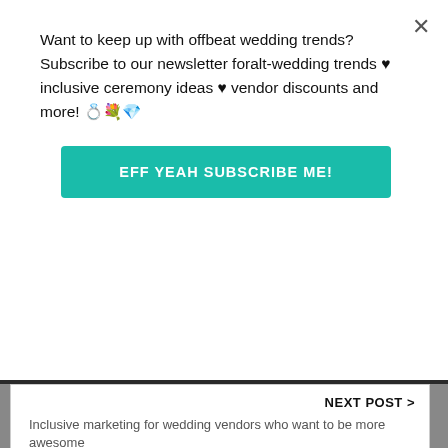Want to keep up with offbeat wedding trends?Subscribe to our newsletter for⁠alt-wedding trends ♥ inclusive ceremony ideas ♥ vendor discounts and more! 💍💐💎
EFF YEAH SUBSCRIBE ME!
NEXT POST >
Inclusive marketing for wedding vendors who want to be more awesome
[Figure (logo): Offbeat Empire logo: blue pennant flag with 'Offbeat' text and 'EMPIRE' below]
About the Author: Offbeat Editors
@offbeatbride
Working tirelessly to bring you stimulating content day after day, the Offbeat Empire's editors will not sleep until you've gotten your offbeat fix